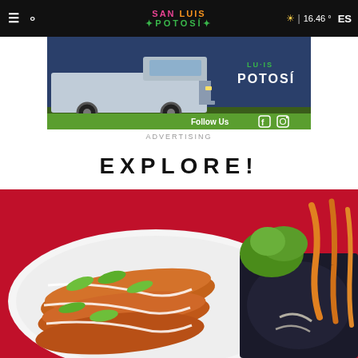San Luis Potosí – navigation bar with hamburger menu, search icon, logo, weather 16.46°, ES language toggle
[Figure (photo): Advertisement banner for San Luis Potosí tourism showing a vintage truck on the left, the Potosí logo on the right, and a green Follow Us bar with Facebook and Instagram icons at the bottom]
ADVERTISING
EXPLORE!
[Figure (photo): Close-up food photograph of Mexican enchiladas on a white plate, drizzled with cream and topped with sliced avocado and jalapeños, with refried beans and garnish in the background, on a red tablecloth]